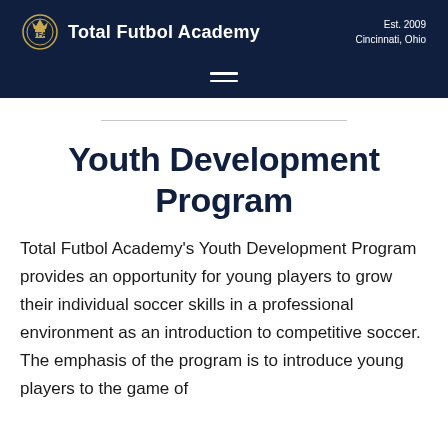Total Futbol Academy — Est. 2009, Cincinnati, Ohio
Youth Development Program
Total Futbol Academy's Youth Development Program provides an opportunity for young players to grow their individual soccer skills in a professional environment as an introduction to competitive soccer. The emphasis of the program is to introduce young players to the game of